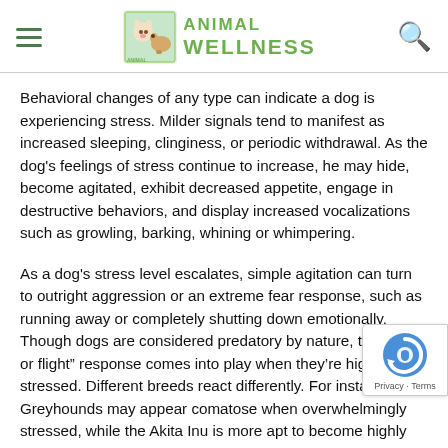Animal Wellness
Behavioral changes of any type can indicate a dog is experiencing stress. Milder signals tend to manifest as increased sleeping, clinginess, or periodic withdrawal. As the dog's feelings of stress continue to increase, he may hide, become agitated, exhibit decreased appetite, engage in destructive behaviors, and display increased vocalizations such as growling, barking, whining or whimpering.
As a dog's stress level escalates, simple agitation can turn to outright aggression or an extreme fear response, such as running away or completely shutting down emotionally. Though dogs are considered predatory by nature, their “fight or flight” response comes into play when they’re highly stressed. Different breeds react differently. For instance, Greyhounds may appear comatose when overwhelmingly stressed, while the Akita Inu is more apt to become highly aggressive.
The spirit of the holidays is about giving and receiving. Sharing